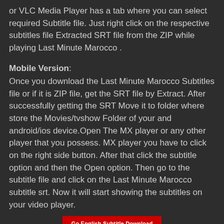or VLC Media Player has a tab where you can select required Subtitle file. Just right click on the respective subtitles file Extracted SRT file from the ZIP while playing Last Minute Marocco .
Mobile Version:
Once you download the Last Minute Marocco Subtitles file or if it is ZIP file, get the SRT file by Extract. After successfully getting the SRT Move it to folder where store the Movies/tvshow Folder of your and android/ios device.Open The MX player or any other player that you possess. MX player you have to click on the right side button. After that click the subtitle option and then the Open option. Then go to the subtitle file and click on the Last Minute Marocco subtitle srt. Now it will start showing the subtitles on your video player.
[Figure (other): Red button labeled 'Go English Subtitle Download']
we are dose not provide movie downloads link, go to Official Or Purchase one at IMDB or Amazon. we are